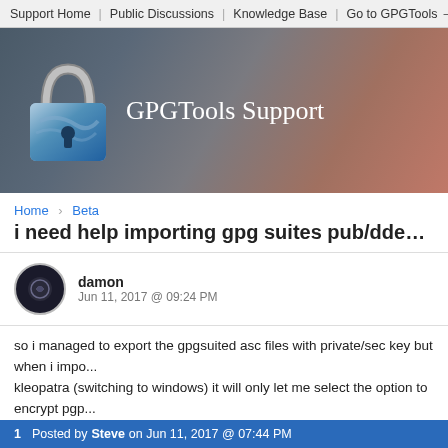Support Home | Public Discussions | Knowledge Base | Go to GPGTools →
[Figure (screenshot): GPGTools Support banner with lock icon and gradient background]
Home > Beta
i need help importing gpg suites pub/ddec keys to...
damon
Jun 11, 2017 @ 09:24 PM
so i managed to export the gpgsuited asc files with private/sec key but when i impo... kleopatra (switching to windows) it will only let me select the option to encrypt pgp... pgp.. do u think u can help me out plz
1  Posted by Steve on Jun 11, 2017 @ 07:44 PM